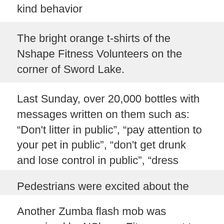kind behavior
The bright orange t-shirts of the Nshape Fitness Volunteers on the corner of Sword Lake.
Last Sunday, over 20,000 bottles with messages written on them such as: “Don't litter in public”, “pay attention to your pet in public”, “don't get drunk and lose control in public”, “dress appropriately when visiting historical places”, “avoid public displays of affection” and “don't bother visitors” were handed out free, to members of the public.
Pedestrians were excited about the idea of receiving free water
Another Zumba flash mob was organized by NShape Fitness next to the Ly Thai To Monument area at the same time. Hundreds of people including